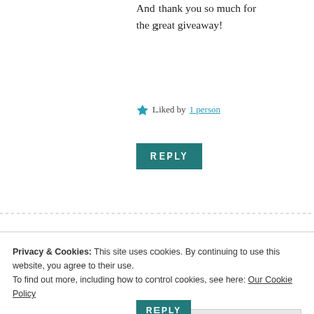And thank you so much for the great giveaway!
Liked by 1 person
REPLY
Katie Oliver says:
March 14, 2016 at 7:21 pm
Thanks, Lady Susan…I really enjoyed answering
Privacy & Cookies: This site uses cookies. By continuing to use this website, you agree to their use. To find out more, including how to control cookies, see here: Our Cookie Policy
Close and accept